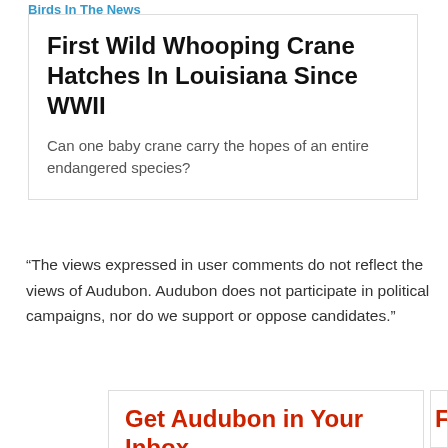Birds In The News
First Wild Whooping Crane Hatches In Louisiana Since WWII
Can one baby crane carry the hopes of an entire endangered species?
“The views expressed in user comments do not reflect the views of Audubon. Audubon does not participate in political campaigns, nor do we support or oppose candidates.”
Get Audubon in Your Inbox
Let us send you the latest in bird and conservation news.